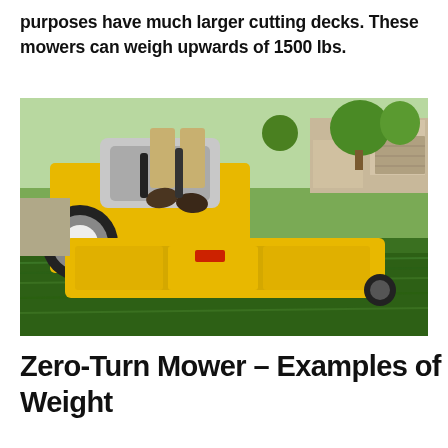purposes have much larger cutting decks. These mowers can weigh upwards of 1500 lbs.
[Figure (photo): A person riding a yellow zero-turn mower on a green lawn, with a house and garage visible in the background. The large yellow cutting deck is prominently visible in the foreground.]
Zero-Turn Mower – Examples of Weight